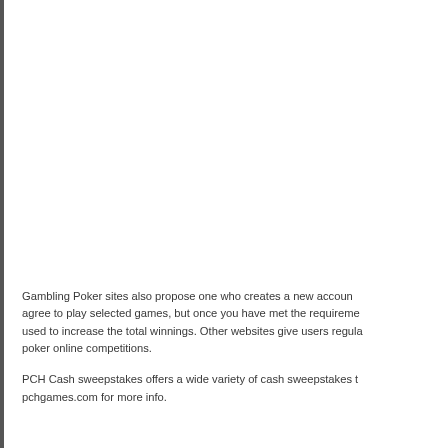Gambling Poker sites also propose one who creates a new account agree to play selected games, but once you have met the requirements used to increase the total winnings. Other websites give users regular poker online competitions.
PCH Cash sweepstakes offers a wide variety of cash sweepstakes to pchgames.com for more info.